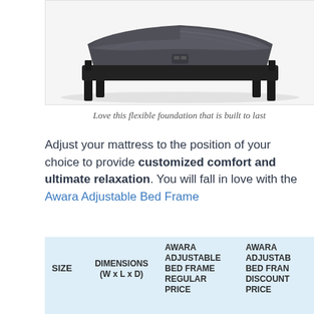[Figure (photo): Adjustable bed frame with dark grey upholstered surface shown in an elevated/adjusted position, with black metal legs visible underneath, on a white background.]
Love this flexible foundation that is built to last
Adjust your mattress to the position of your choice to provide customized comfort and ultimate relaxation. You will fall in love with the Awara Adjustable Bed Frame
| SIZE | DIMENSIONS (W x L x D) | AWARA ADJUSTABLE BED FRAME REGULAR PRICE | AWARA ADJUSTABLE BED FRAME DISCOUNT PRICE |
| --- | --- | --- | --- |